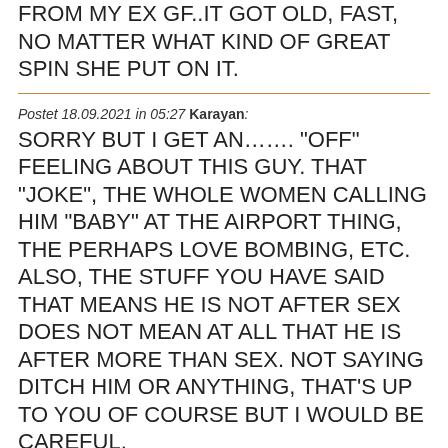FROM MY EX GF..IT GOT OLD, FAST, NO MATTER WHAT KIND OF GREAT SPIN SHE PUT ON IT.
Postet 18.09.2021 in 05:27 Karayan: SORRY BUT I GET AN……. "OFF" FEELING ABOUT THIS GUY. THAT "JOKE", THE WHOLE WOMEN CALLING HIM "BABY" AT THE AIRPORT THING, THE PERHAPS LOVE BOMBING, ETC. ALSO, THE STUFF YOU HAVE SAID THAT MEANS HE IS NOT AFTER SEX DOES NOT MEAN AT ALL THAT HE IS AFTER MORE THAN SEX. NOT SAYING DITCH HIM OR ANYTHING, THAT'S UP TO YOU OF COURSE BUT I WOULD BE CAREFUL.
Postet 18.09.2021 in 12:42 Yanjun: MORE OF LEFTY, PLEASE!